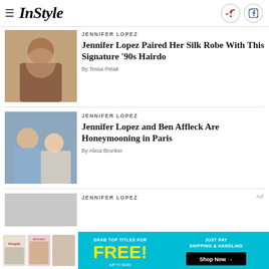InStyle
JENNIFER LOPEZ
Jennifer Lopez Paired Her Silk Robe With This Signature '90s Hairdo
By Tessa Petak
JENNIFER LOPEZ
Jennifer Lopez and Ben Affleck Are Honeymooning in Paris
By Alicia Brunker
JENNIFER LOPEZ
Ad
[Figure (photo): Advertisement banner: Grab top titles for FREE! Just pay shipping & handling. Shop Now →]